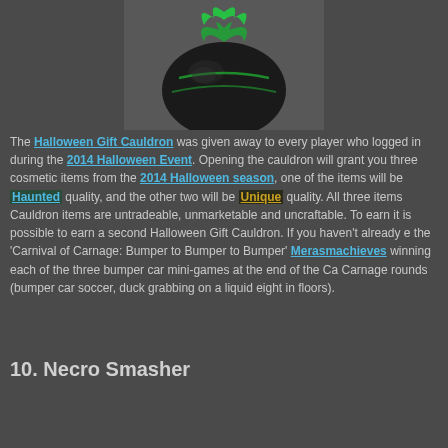[Figure (illustration): A black cauldron with green glowing leaf/flame decorations on top, sitting on three small legs, against a grey background. This is the Halloween Gift Cauldron item from a game.]
The Halloween Gift Cauldron was given away to every player who logged in during the 2014 Halloween Event. Opening the cauldron will grant you three cosmetic items from the 2014 Halloween season, one of the items will be Haunted quality, and the other two will be Unique quality. All three items Cauldron items are untradeable, unmarketable and uncraftable. To earn it is possible to earn a second Halloween Gift Cauldron. If you haven't already e the 'Carnival of Carnage: Bumper to Bumper to Bumper' Merasmachieve winning each of the three bumper car mini-games at the end of the Ca Carnage rounds (bumper car soccer, duck grabbing on a liquid eight in floors).
10. Necro Smasher